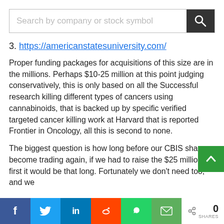[Figure (screenshot): Search bar with placeholder text 'Search by company or stock symbol' and a dark search icon button on the right]
3. https://americanstatesuniversity.com/
Proper funding packages for acquisitions of this size are in the millions. Perhaps $10-25 million at this point judging conservatively, this is only based on all the Successful research killing different types of cancers using cannabinoids, that is backed up by specific verified targeted cancer killing work at Harvard that is reported Frontier in Oncology, all this is second to none.
The biggest question is how long before our CBIS shares become trading again, if we had to raise the $25 million first it would be that long. Fortunately we don't need too, and we